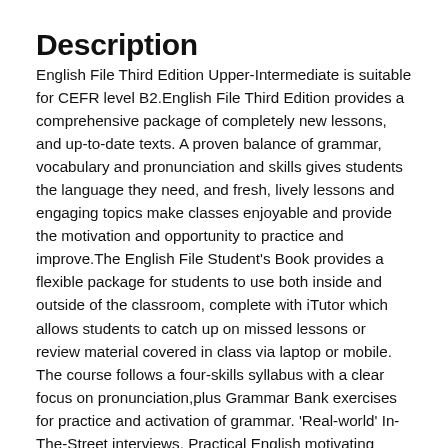Description
English File Third Edition Upper-Intermediate is suitable for CEFR level B2.English File Third Edition provides a comprehensive package of completely new lessons, and up-to-date texts. A proven balance of grammar, vocabulary and pronunciation and skills gives students the language they need, and fresh, lively lessons and engaging topics make classes enjoyable and provide the motivation and opportunity to practice and improve.The English File Student's Book provides a flexible package for students to use both inside and outside of the classroom, complete with iTutor which allows students to catch up on missed lessons or review material covered in class via laptop or mobile. The course follows a four-skills syllabus with a clear focus on pronunciation,plus Grammar Bank exercises for practice and activation of grammar. 'Real-world' In-The-Street interviews, Practical English motivating drama and documentary videos motivate and engage students with English language and culture.iTutor accompanies the Student's Book to encourage home-